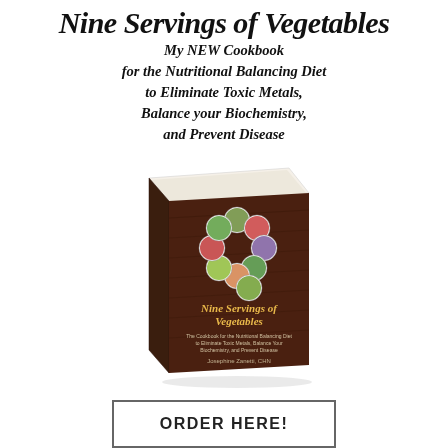Nine Servings of Vegetables
My NEW Cookbook for the Nutritional Balancing Diet to Eliminate Toxic Metals, Balance your Biochemistry, and Prevent Disease
[Figure (photo): Book cover of 'Nine Servings of Vegetables' by Josephine Zanetti, CHN, showing a dark wood-toned cover with circular vegetable images arranged in a figure-9 pattern, displayed as a 3D book with pages visible at the top.]
ORDER HERE!